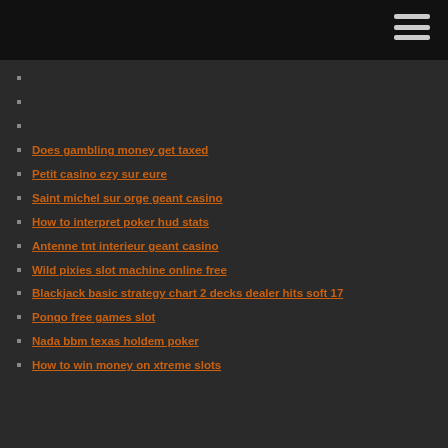Does gambling money get taxed
Petit casino ezy sur eure
Saint michel sur orge geant casino
How to interpret poker hud stats
Antenne tnt interieur geant casino
Wild pixies slot machine online free
Blackjack basic strategy chart 2 decks dealer hits soft 17
Pongo free games slot
Nada bbm texas holdem poker
How to win money on xtreme slots